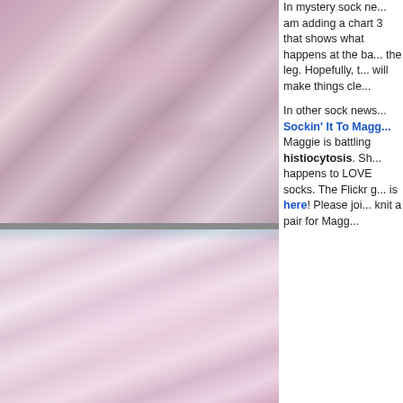[Figure (photo): Pink and purple variegated knitted sock on gray wood background, top view]
[Figure (photo): Pink and cream lace knitted sock laid flat on gray wood surface, showing detailed lace pattern]
In mystery sock ne... am adding a chart 3 that shows what happens at the ba... the leg. Hopefully, t... will make things cle...
In other sock news...
Sockin' It To Magg... Maggie is battling histiocytosis. Sh... happens to LOVE socks. The Flickr g... is here! Please joi... knit a pair for Magg...